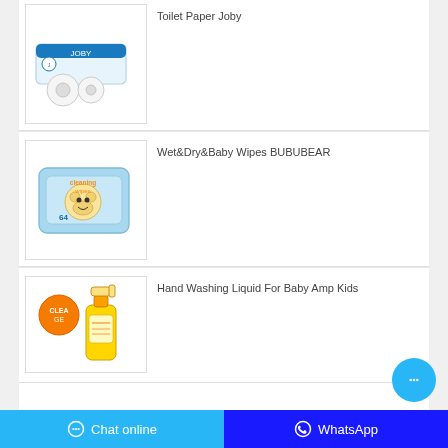[Figure (photo): Product image of Toilet Paper Joby - white packaging with blue accents and toilet rolls]
Toilet Paper Joby
[Figure (photo): Product image of Wet&Dry&Baby Wipes BUBUBEAR - blue packaging with bear cartoon]
Wet&Dry&Baby Wipes BUBUBEAR
[Figure (photo): Product image of Hand Washing Liquid For Baby Amp Kids - orange and yellow bottle]
Hand Washing Liquid For Baby Amp Kids
Chat online   WhatsApp